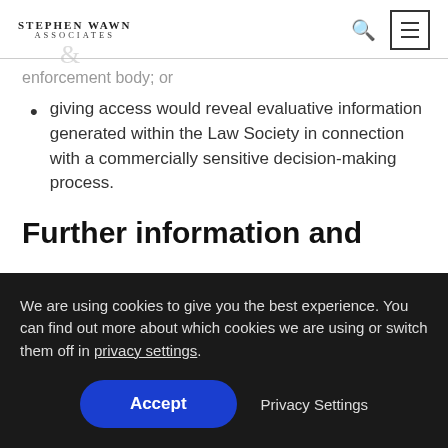Stephen Wawn & Associates
enforcement body; or
giving access would reveal evaluative information generated within the Law Society in connection with a commercially sensitive decision-making process.
Further information and
We are using cookies to give you the best experience. You can find out more about which cookies we are using or switch them off in privacy settings.